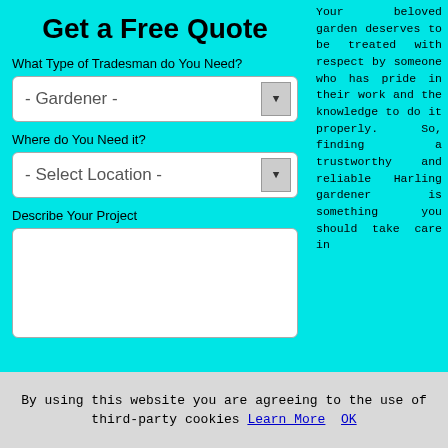Get a Free Quote
What Type of Tradesman do You Need?
- Gardener -
Where do You Need it?
- Select Location -
Describe Your Project
Your beloved garden deserves to be treated with respect by someone who has pride in their work and the knowledge to do it properly. So, finding a trustworthy and reliable Harling gardener is something you should take care in
By using this website you are agreeing to the use of third-party cookies Learn More OK